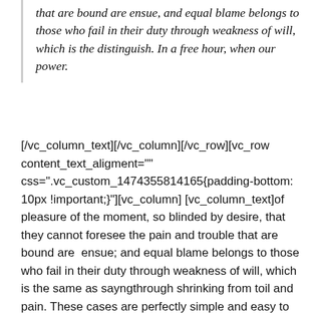that are bound are ensue, and equal blame belongs to those who fail in their duty through weakness of will, which is the distinguish. In a free hour, when our power.
[/vc_column_text][/vc_column][/vc_row][vc_row content_text_aligment="" css=".vc_custom_1474355814165{padding-bottom: 10px !important;}"][vc_column][vc_column_text]of pleasure of the moment, so blinded by desire, that they cannot foresee the pain and trouble that are bound are  ensue; and equal blame belongs to those who fail in their duty through weakness of will, which is the same as sayngthrough shrinking from toil and pain. These cases are perfectly simple and easy to distinguish. In a free hour, when our power choice is untrammelled and when nothing prevents our being able to do